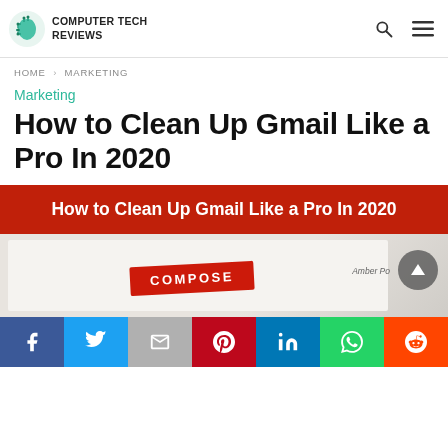Computer Tech Reviews
HOME > MARKETING
Marketing
How to Clean Up Gmail Like a Pro In 2020
[Figure (infographic): Red banner with white bold text reading: How to Clean Up Gmail Like a Pro In 2020]
[Figure (photo): Photo of Gmail interface showing red COMPOSE button, with a back-to-top arrow button overlay]
[Figure (infographic): Social sharing bar with Facebook, Twitter, Gmail/Google, Pinterest, LinkedIn, WhatsApp, and Reddit icons]